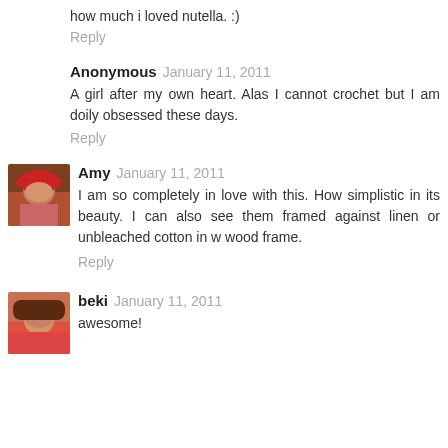how much i loved nutella. :)
Reply
Anonymous  January 11, 2011
A girl after my own heart. Alas I cannot crochet but I am doily obsessed these days.
Reply
[Figure (photo): Avatar photo of Amy, a woman wearing a red hat]
Amy  January 11, 2011
I am so completely in love with this. How simplistic in its beauty. I can also see them framed against linen or unbleached cotton in w wood frame.
Reply
[Figure (photo): Avatar photo of beki, a woman with dark hair]
beki  January 11, 2011
awesome!